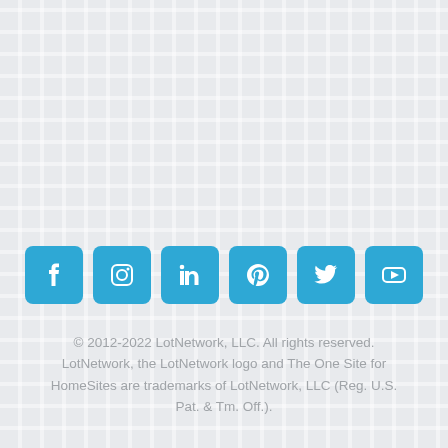[Figure (other): Social media icon buttons in blue: Facebook, Instagram, LinkedIn, Pinterest, Twitter, YouTube]
© 2012-2022 LotNetwork, LLC. All rights reserved. LotNetwork, the LotNetwork logo and The One Site for HomeSites are trademarks of LotNetwork, LLC (Reg. U.S. Pat. & Tm. Off.).